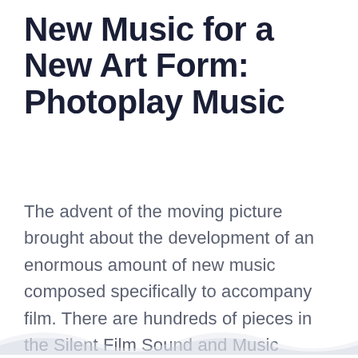New Music for a New Art Form: Photoplay Music
The advent of the moving picture brought about the development of an enormous amount of new music composed specifically to accompany film. There are hundreds of pieces in the Silent Film Sound and Music Archive to discover and use for accompaniment or analysis, all of it once an influential force on the development of the cinematic score.